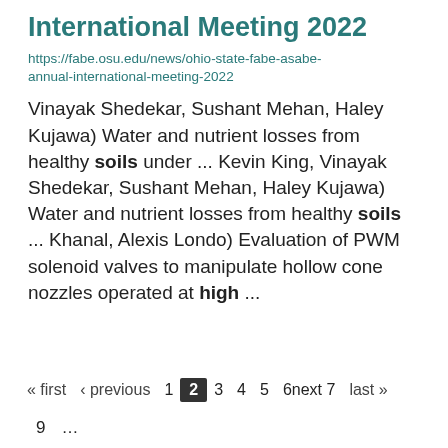International Meeting 2022
https://fabe.osu.edu/news/ohio-state-fabe-asabe-annual-international-meeting-2022
Vinayak Shedekar, Sushant Mehan, Haley Kujawa) Water and nutrient losses from healthy soils under ... Kevin King, Vinayak Shedekar, Sushant Mehan, Haley Kujawa) Water and nutrient losses from healthy soils ... Khanal, Alexis Londo) Evaluation of PWM solenoid valves to manipulate hollow cone nozzles operated at high ...
« first ‹ previous 1 2 3 4 5 6next 7 last » 9 …